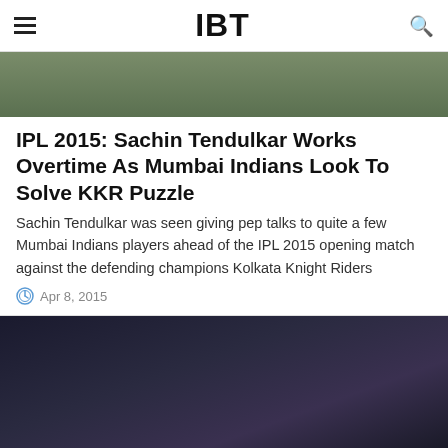IBT
[Figure (photo): Top cropped image with dark olive/green background]
IPL 2015: Sachin Tendulkar Works Overtime As Mumbai Indians Look To Solve KKR Puzzle
Sachin Tendulkar was seen giving pep talks to quite a few Mumbai Indians players ahead of the IPL 2015 opening match against the defending champions Kolkata Knight Riders
Apr 8, 2015
[Figure (photo): Bottom dark image, nearly black with subtle blue-purple gradient]